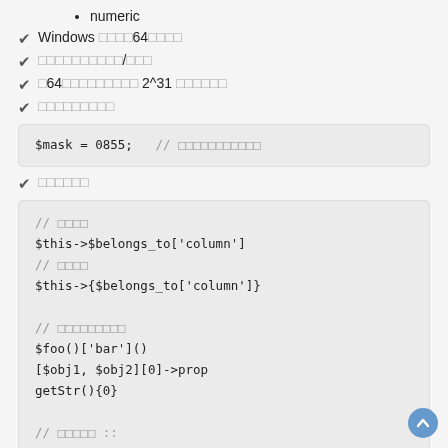numeric
✔ Windows 64ビット版
✔ 配列のデリファレンス/アクセス
✔ 64ビット整数のサポート 2^31 バイト以上
✔ ビット演算子
$mask = 0855;  // 8進数リテラルの定義
✔ 変数変数
// 旧記法
$this->$belongs_to['column']
// 新記法
$this->{$belongs_to['column']}

// 配列デリファレンス
$foo()['bar']()
[$obj1, $obj2][0]->prop
getStr(){0}

// 静的メソッド ::
$foo['bar']::$baz
$foo::$bar::$baz